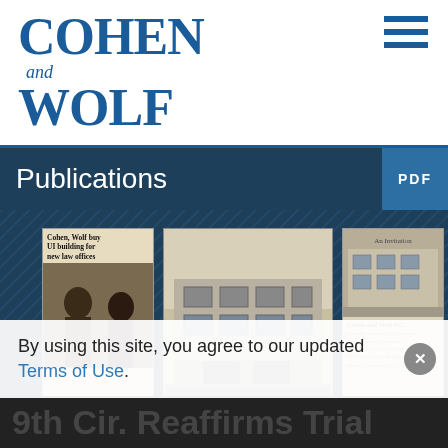[Figure (logo): Cohen and Wolf law firm logo in blue serif font]
Publications
[Figure (photo): Gallery of three historical images: newspaper clipping about Cohen Wolf buying a UI building, a black and white photo of a multi-story building exterior, and an invitation card for Cohen and Wolf P.C. new office opening]
By using this site, you agree to our updated Terms of Use.
9th Cir. Reaffirms Trial